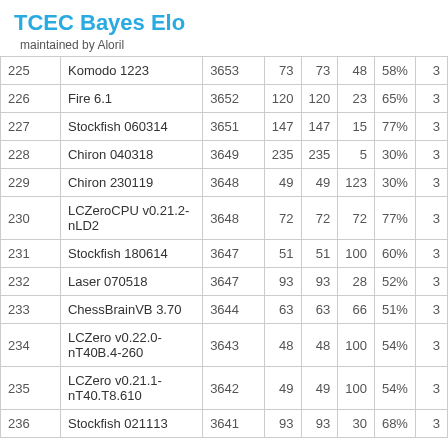TCEC Bayes Elo
maintained by Aloril
| # | Engine | Elo | ± | ± | Games | % |  |
| --- | --- | --- | --- | --- | --- | --- | --- |
| 225 | Komodo 1223 | 3653 | 73 | 73 | 48 | 58% | 3 |
| 226 | Fire 6.1 | 3652 | 120 | 120 | 23 | 65% | 3 |
| 227 | Stockfish 060314 | 3651 | 147 | 147 | 15 | 77% | 3 |
| 228 | Chiron 040318 | 3649 | 235 | 235 | 5 | 30% | 3 |
| 229 | Chiron 230119 | 3648 | 49 | 49 | 123 | 30% | 3 |
| 230 | LCZeroCPU v0.21.2-nLD2 | 3648 | 72 | 72 | 72 | 77% | 3 |
| 231 | Stockfish 180614 | 3647 | 51 | 51 | 100 | 60% | 3 |
| 232 | Laser 070518 | 3647 | 93 | 93 | 28 | 52% | 3 |
| 233 | ChessBrainVB 3.70 | 3644 | 63 | 63 | 66 | 51% | 3 |
| 234 | LCZero v0.22.0-nT40B.4-260 | 3643 | 48 | 48 | 100 | 54% | 3 |
| 235 | LCZero v0.21.1-nT40.T8.610 | 3642 | 49 | 49 | 100 | 54% | 3 |
| 236 | Stockfish 021113 | 3641 | 93 | 93 | 30 | 68% | 3 |